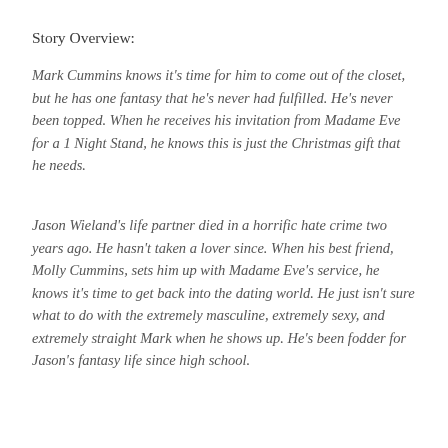Story Overview:
Mark Cummins knows it's time for him to come out of the closet, but he has one fantasy that he's never had fulfilled. He's never been topped. When he receives his invitation from Madame Eve for a 1 Night Stand, he knows this is just the Christmas gift that he needs.
Jason Wieland's life partner died in a horrific hate crime two years ago. He hasn't taken a lover since. When his best friend, Molly Cummins, sets him up with Madame Eve's service, he knows it's time to get back into the dating world. He just isn't sure what to do with the extremely masculine, extremely sexy, and extremely straight Mark when he shows up. He's been fodder for Jason's fantasy life since high school.